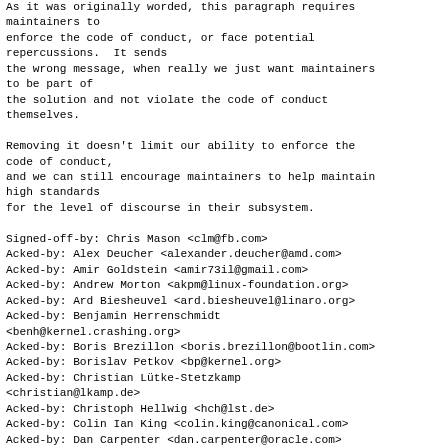As it was originally worded, this paragraph requires maintainers to
enforce the code of conduct, or face potential repercussions.  It sends
the wrong message, when really we just want maintainers to be part of
the solution and not violate the code of conduct themselves.

Removing it doesn't limit our ability to enforce the code of conduct,
and we can still encourage maintainers to help maintain high standards
for the level of discourse in their subsystem.

Signed-off-by: Chris Mason <clm@fb.com>
Acked-by: Alex Deucher <alexander.deucher@amd.com>
Acked-by: Amir Goldstein <amir73il@gmail.com>
Acked-by: Andrew Morton <akpm@linux-foundation.org>
Acked-by: Ard Biesheuvel <ard.biesheuvel@linaro.org>
Acked-by: Benjamin Herrenschmidt <benh@kernel.crashing.org>
Acked-by: Boris Brezillon <boris.brezillon@bootlin.com>
Acked-by: Borislav Petkov <bp@kernel.org>
Acked-by: Christian Lütke-Stetzkamp <christian@lkamp.de>
Acked-by: Christoph Hellwig <hch@lst.de>
Acked-by: Colin Ian King <colin.king@canonical.com>
Acked-by: Dan Carpenter <dan.carpenter@oracle.com>
Acked-by: Dan Williams <dan.j.williams@intel.com>
Acked-by: Daniel Borkmann <daniel@iogearbox.net>